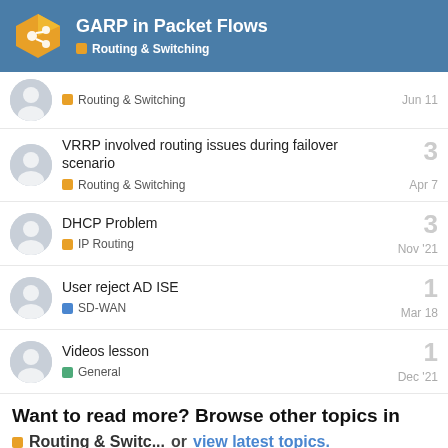GARP in Packet Flows — Routing & Switching
Routing & Switching — Jun 11
VRRP involved routing issues during failover scenario — Routing & Switching — Apr 7 — 3 replies
DHCP Problem — IP Routing — Nov '21 — 3 replies
User reject AD ISE — SD-WAN — Mar 18 — 1 reply
Videos lesson — General — Dec '21 — 1 reply
Want to read more? Browse other topics in Routing & Switc... or view latest topics.